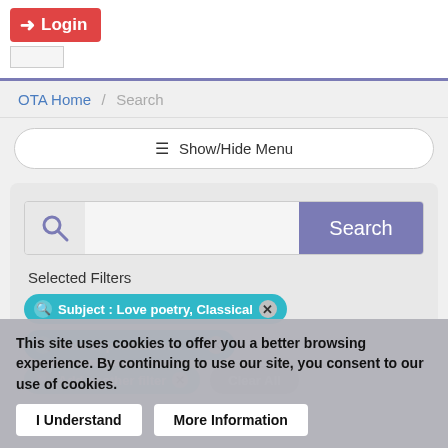Login
OTA Home / Search
Show/Hide Menu
Selected Filters
Subject : Love poetry, Classical
Date of publication : 18
This site uses cookies to offer you a better browsing experience. By continuing to use our site, you consent to our use of cookies.
I Understand
More Information